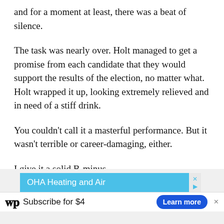and for a moment at least, there was a beat of silence.
The task was nearly over. Holt managed to get a promise from each candidate that they would support the results of the election, no matter what. Holt wrapped it up, looking extremely relieved and in need of a stiff drink.
You couldn’t call it a masterful performance. But it wasn’t terrible or career-damaging, either.
I give it a solid B-minus.
For more by Margaret Sullivan visit wapo.st/sullivan.
[Figure (screenshot): Advertisement banner: OHA Heating and Air with blue background and close/arrow buttons, and Washington Post subscribe bar at bottom.]